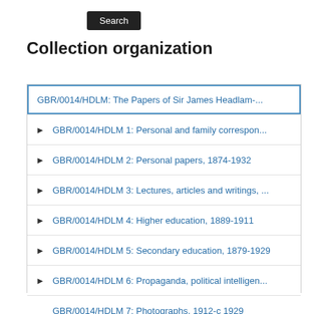Search
Collection organization
GBR/0014/HDLM: The Papers of Sir James Headlam-...
GBR/0014/HDLM 1: Personal and family correspon...
GBR/0014/HDLM 2: Personal papers, 1874-1932
GBR/0014/HDLM 3: Lectures, articles and writings, ...
GBR/0014/HDLM 4: Higher education, 1889-1911
GBR/0014/HDLM 5: Secondary education, 1879-1929
GBR/0014/HDLM 6: Propaganda, political intelligen...
GBR/0014/HDLM 7: Photographs, 1912-c 1929
GBR/0014/HDLM 8: Press cuttings and newspaper...